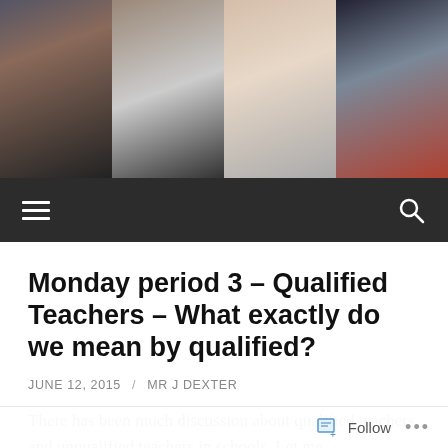[Figure (photo): Four-panel photo strip showing school students: a girl in uniform, a boy thinking with hand at mouth, a woman playing flute, and a teenage boy with guitar or instrument]
[Figure (screenshot): Dark navigation bar with hamburger menu icon on the left and search magnifying glass icon on the right]
Monday period 3 – Qualified Teachers – What exactly do we mean by qualified?
JUNE 12, 2015 / MR J DEXTER
There has been much discussion about qualified teachers and unqualified teachers in schools. Let me